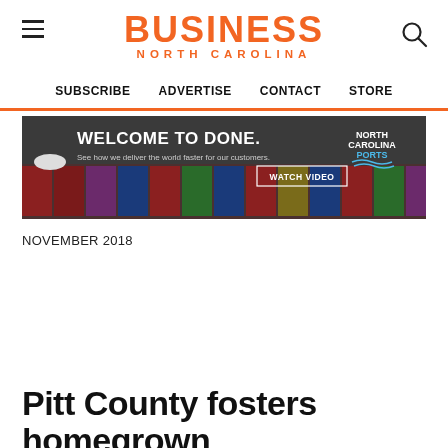BUSINESS NORTH CAROLINA
SUBSCRIBE   ADVERTISE   CONTACT   STORE
[Figure (photo): Banner advertisement: dark background with shipping containers, text reading 'WELCOME TO DONE. See how we deliver the world faster for our customers. WATCH VIDEO' with North Carolina Ports logo.]
NOVEMBER 2018
Pitt County fosters homegrown